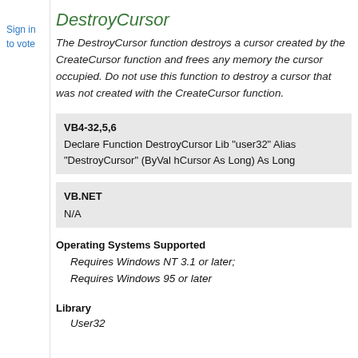Sign in
to vote
DestroyCursor
The DestroyCursor function destroys a cursor created by the CreateCursor function and frees any memory the cursor occupied. Do not use this function to destroy a cursor that was not created with the CreateCursor function.
VB4-32,5,6
Declare Function DestroyCursor Lib "user32" Alias "DestroyCursor" (ByVal hCursor As Long) As Long
VB.NET
N/A
Operating Systems Supported
Requires Windows NT 3.1 or later;
Requires Windows 95 or later
Library
User32